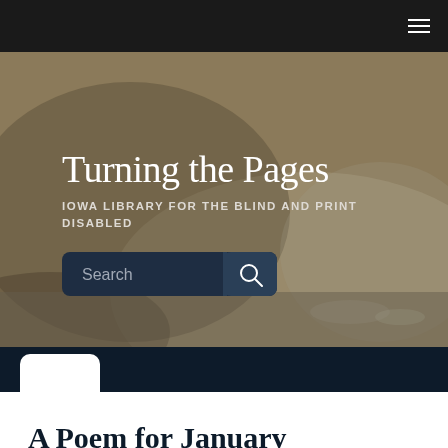≡
[Figure (screenshot): Hero banner with blurred outdoor background image showing muted tan/brown tones. Contains the site title 'Turning the Pages', subtitle 'IOWA LIBRARY FOR THE BLIND AND PRINT DISABLED', and a search bar.]
Turning the Pages
IOWA LIBRARY FOR THE BLIND AND PRINT DISABLED
[Figure (other): White rounded rectangle logo/icon box on dark navy background]
MENU ≡
A Poem for January